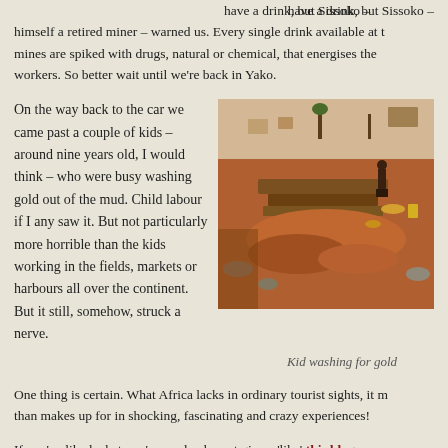have a drink, but Sissoko – himself a retired miner – warned us. Every single drink available at the mines are spiked with drugs, natural or chemical, that energises the workers. So better wait until we're back in Yako.
On the way back to the car we came past a couple of kids – around nine years old, I would think – who were busy washing gold out of the mud. Child labour if I any saw it. But not particularly more horrible than the kids working in the fields, markets or harbours all over the continent. But it still, somehow, struck a nerve.
[Figure (photo): Photo of a gold mining site with red/orange earth, sluice boxes, workers, and trees in the background]
Kid washing for gold
One thing is certain. What Africa lacks in ordinary tourist sights, it more than makes up for in shocking, fascinating and crazy experiences!
If you've liked what you've read, why not give a 'like' this blog on Facebook so you won't miss future stories?
Posted by askgudmundsen 17:32 Archived in Burkina Faso Tagged travelling wild africa western sights gold mining mine travelling west_africa